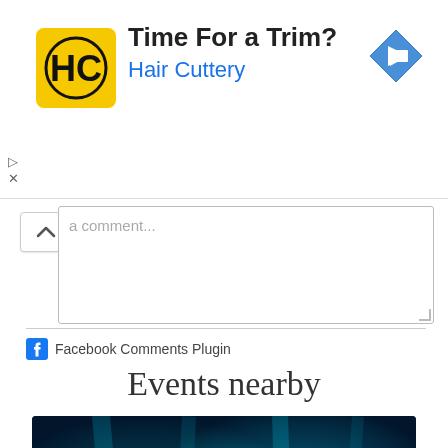[Figure (screenshot): Hair Cuttery advertisement banner with yellow logo, 'Time For a Trim?' headline, blue 'Hair Cuttery' subtext, and a blue navigation arrow icon on the right]
[Figure (screenshot): Comment input box with upward chevron toggle and placeholder text 'a comment...']
Facebook Comments Plugin
Events nearby
[Figure (photo): Aerial or overhead photo of a large crowd at night with blue and teal lighting effects, possibly a concert or festival]